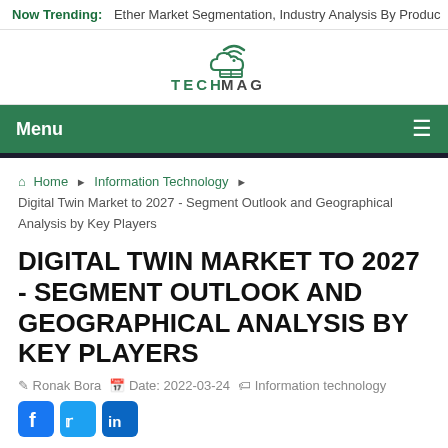Now Trending: Ether Market Segmentation, Industry Analysis By Produc
[Figure (logo): TECH MAG logo with cloud/wifi icon above text]
Menu ≡
Home ▸ Information Technology ▸ Digital Twin Market to 2027 - Segment Outlook and Geographical Analysis by Key Players
DIGITAL TWIN MARKET TO 2027 - SEGMENT OUTLOOK AND GEOGRAPHICAL ANALYSIS BY KEY PLAYERS
Ronak Bora   Date: 2022-03-24   Information technology
[Figure (other): Social sharing icons: Facebook, Twitter, LinkedIn]